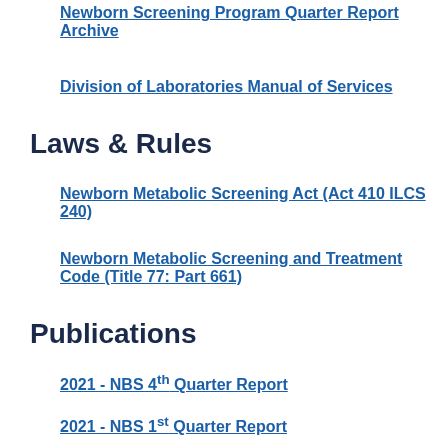Newborn Screening Program Quarter Report Archive
Division of Laboratories Manual of Services
Laws & Rules
Newborn Metabolic Screening Act (Act 410 ILCS 240)
Newborn Metabolic Screening and Treatment Code (Title 77: Part 661)
Publications
2021 - NBS 4th Quarter Report
2021 - NBS 1st Quarter Report